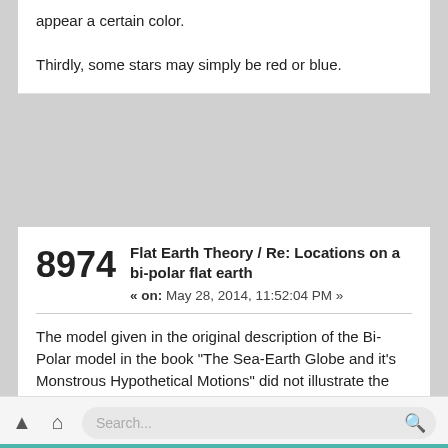appear a certain color.

Thirdly, some stars may simply be red or blue.
8974
Flat Earth Theory / Re: Locations on a bi-polar flat earth
« on: May 28, 2014, 11:52:04 PM »
The model given in the original description of the Bi-Polar model in the book "The Sea-Earth Globe and it's Monstrous Hypothetical Motions" did not illustrate the layout of the continents, but provided an illustration consisting of two circles with N and S points centered within it, and paths illustrating the motions of the sun. A continental layout was not provided.
The continental layout you see there is a map projection
Search...